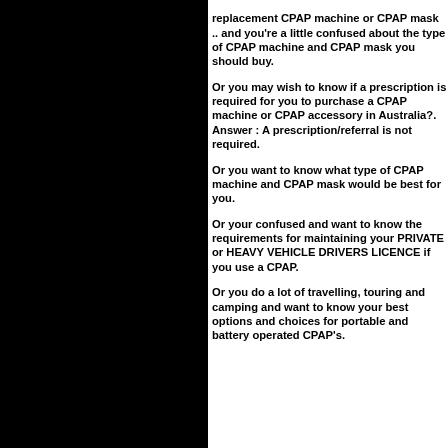replacement CPAP machine or CPAP mask .. and you're a little confused about the type of CPAP machine and CPAP mask you should buy.
Or you may wish to know if a prescription is required for you to purchase a CPAP machine or CPAP accessory in Australia?.  Answer : A prescription/referral is not required.
Or you want to know what type of CPAP machine and CPAP mask would be best for you.
Or your confused and want to know the requirements for maintaining your PRIVATE or HEAVY VEHICLE DRIVERS LICENCE if you use a CPAP.
Or you do a lot of travelling, touring and camping and want to know your best options and choices for portable and battery operated CPAP's.